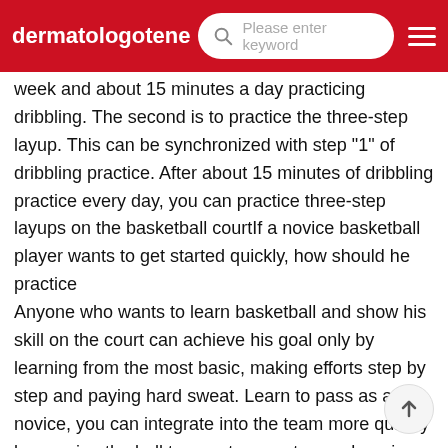dermatologotene | Please enter keyword
week and about 15 minutes a day practicing dribbling. The second is to practice the three-step layup. This can be synchronized with step "1" of dribbling practice. After about 15 minutes of dribbling practice every day, you can practice three-step layups on the basketball courtIf a novice basketball player wants to get started quickly, how should he practice
Anyone who wants to learn basketball and show his skill on the court can achieve his goal only by learning from the most basic, making efforts step by step and paying hard sweat. Learn to pass as a novice, you can integrate into the team more quickly by passing the ball to your teammates, so learning to pass is the firstBeginner basketball quick video After mastering the basic dribble, you can gradually add appropriate types of exercises, such as the crossover, crotch dribble, back dr...